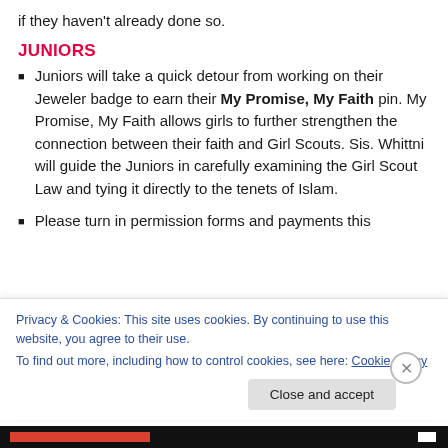if they haven't already done so.
JUNIORS
Juniors will take a quick detour from working on their Jeweler badge to earn their My Promise, My Faith pin. My Promise, My Faith allows girls to further strengthen the connection between their faith and Girl Scouts. Sis. Whittni will guide the Juniors in carefully examining the Girl Scout Law and tying it directly to the tenets of Islam.
Please turn in permission forms and payments this
Privacy & Cookies: This site uses cookies. By continuing to use this website, you agree to their use.
To find out more, including how to control cookies, see here: Cookie Policy